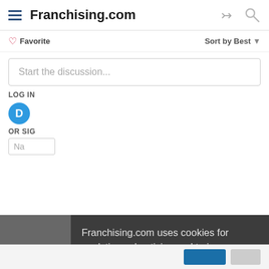Franchising.com
Favorite   Sort by Best
Start the discussion...
LOG IN
OR SIG
Na
Franchising.com uses cookies for analytics, advertising and to improve our site. By closing this box or continuing to use our site, you agree to our use of cookies. Learn more about how we use cookies and protect your data by reviewing our Privacy Policy
I Accept